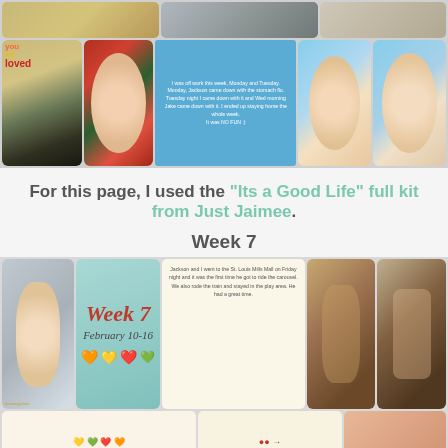[Figure (photo): Photo collage scrapbook page with baby photos, dog photo, Christmas-themed baby photo, bath photo, close-up baby face, and a blue text box with journaling text about being off work Monday and Tuesday, kids getting stomach flu]
For this page, I used the "Its a Good Life" full kit from Just Jaimee.
Week 7
[Figure (photo): Week 7 scrapbook page collage showing baby in high chair, Week 7 February 10-16 card with hearts, journaling text about St. Louis Mills Mall carousel ride, and carousel/play area photos]